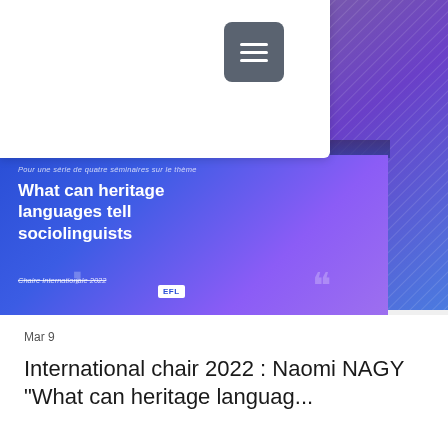[Figure (logo): Labex EFL logo — bold dark blue EFL text with small 'Labex' superscript]
[Figure (screenshot): Hamburger menu button (three horizontal lines) on dark grey rounded square background]
[Figure (screenshot): Search bar with magnifying glass icon on light grey pill-shaped background]
[Figure (infographic): Blue-to-purple gradient banner with text: 'Pour une série de quatre séminaires sur le thème' and title 'What can heritage languages tell sociolinguists' and 'Chaire Internationale 2022' and EFL badge, decorative quotation marks]
Mar 9
International chair 2022 : Naomi NAGY "What can heritage languag...